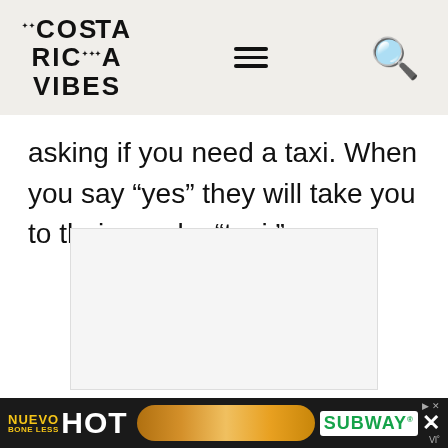Costa Rica Vibes
asking if you need a taxi. When you say “yes” they will take you to their nearby “taxi.”
[Figure (other): Advertisement placeholder box (white/light gray rectangle)]
[Figure (other): Subway advertisement banner: NUEVO BONELESS HOT sandwich ad with Subway logo, on dark background]